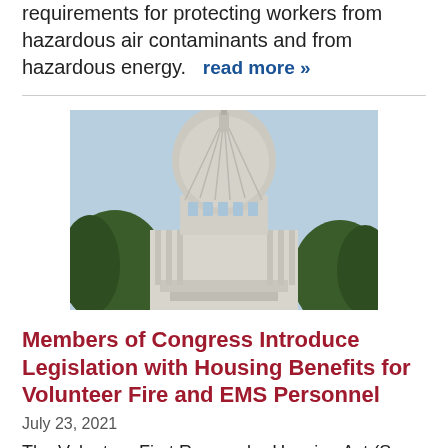requirements for protecting workers from hazardous air contaminants and from hazardous energy.   read more »
[Figure (photo): Photograph of the US Capitol dome with trees in the foreground against a light blue sky.]
Members of Congress Introduce Legislation with Housing Benefits for Volunteer Fire and EMS Personnel
July 23, 2021
The Volunteer First Responder Housing Act (S. 2316/H.R. 4377) was introduced by Senators Tammy Baldwin (D-MN) and Representative Cynthia Axne (D-IA). Both bills have bipartisan